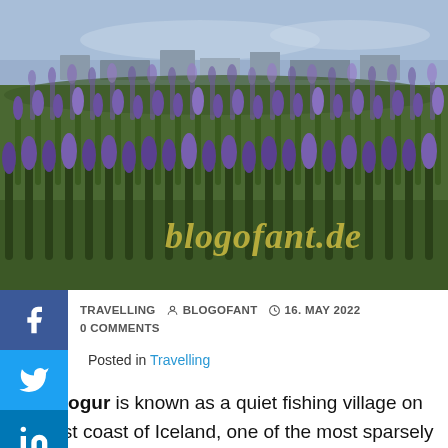[Figure (photo): Aerial/ground-level photo of a field of purple lupine flowers with a small Icelandic town and coastline visible in the background. The blog watermark 'blogofant.de' is overlaid in golden italic script.]
TRAVELLING  BLOGOFANT  16. MAY 2022  0 COMMENTS
Posted in Travelling
Djúpivogur is known as a quiet fishing village on the east coast of Iceland, one of the most sparsely populated regions of the island. However, due to its short distance to other countries, the history of trade goes back to the 16th century. A total of almost 400 inhabitants live in the place